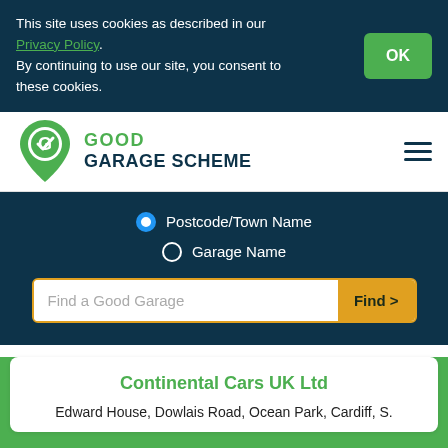This site uses cookies as described in our Privacy Policy. By continuing to use our site, you consent to these cookies.
[Figure (logo): Good Garage Scheme logo with green map pin icon and checkmark]
Postcode/Town Name
Garage Name
Find a Good Garage
Continental Cars UK Ltd
Edward House, Dowlais Road, Ocean Park, Cardiff, S.